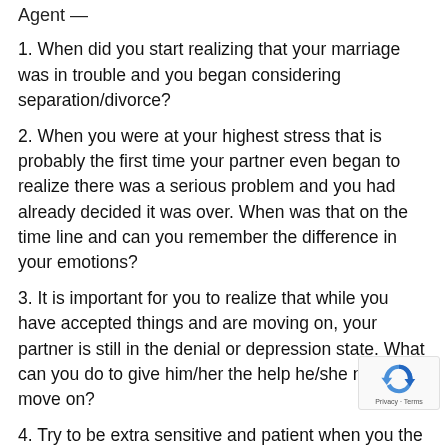Agent —
1. When did you start realizing that your marriage was in trouble and you began considering separation/divorce?
2. When you were at your highest stress that is probably the first time your partner even began to realize there was a serious problem and you had already decided it was over. When was that on the time line and can you remember the difference in your emotions?
3. It is important for you to realize that while you have accepted things and are moving on, your partner is still in the denial or depression state. What can you do to give him/her the help he/she needs to move on?
4. Try to be extra sensitive and patient when you the re-entry stage, because your partner is still processing the grieving stage. In what ways can you be